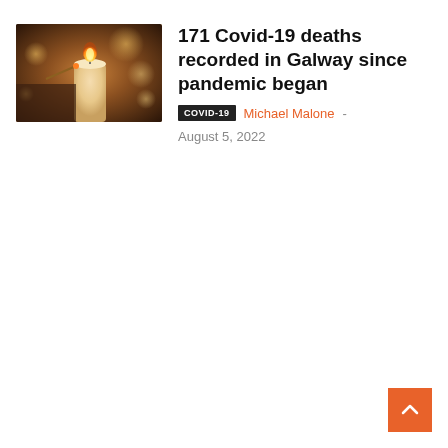[Figure (photo): Photo of a hand lighting a candle with another candle, warm golden tones, bokeh background with multiple candles]
171 Covid-19 deaths recorded in Galway since pandemic began
COVID-19  Michael Malone - August 5, 2022